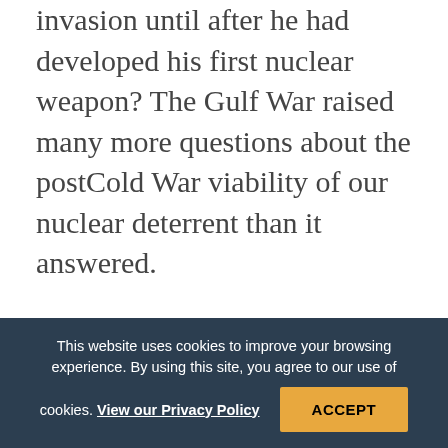invasion until after he had developed his first nuclear weapon? The Gulf War raised many more questions about the postCold War viability of our nuclear deterrent than it answered.
Other than our preemptive air strikes and passive defense measures, we had few options. In the end, Saddam kept WMD on the shelf. What about next time? India's former Army Chief of Staff said, “The lesson of Desert Storm is, ‘Don’t fight with the United States without a nuclear weapon.’” If
This website uses cookies to improve your browsing experience. By using this site, you agree to our use of cookies. View our Privacy Policy